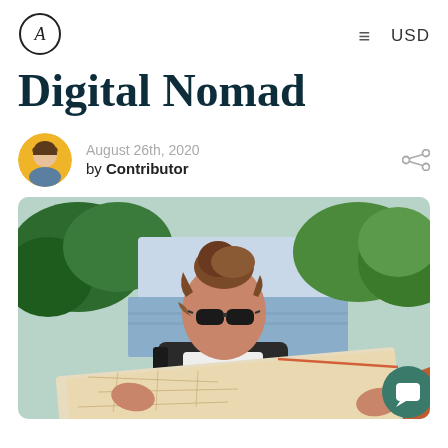A (logo) | ≡ USD
Digital Nomad
August 26th, 2020
by Contributor
[Figure (photo): A woman with sunglasses and hair in a bun reading a large map outdoors, with a river and green trees in the background.]